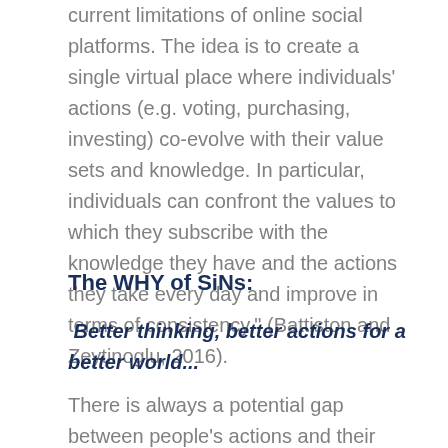current limitations of online social platforms. The idea is to create a single virtual place where individuals' actions (e.g. voting, purchasing, investing) co-evolve with their value sets and knowledge. In particular, individuals can confront the values to which they subscribe with the knowledge they have and the actions they take every day and improve in terms of consistency." (Battiston and Zeytinoglu, 2016).
The WHY of SiNs:
Better thinking, better actions for a better world...
There is always a potential gap between people's actions and their underlying values. As these gaps